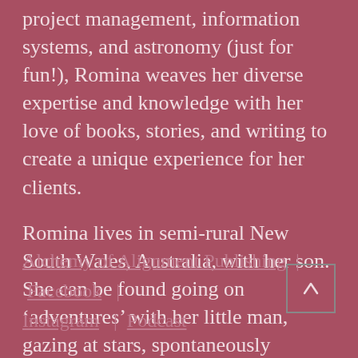project management, information systems, and astronomy (just for fun!), Romina weaves her diverse expertise and knowledge with her love of books, stories, and writing to create a unique experience for her clients.
Romina lives in semi-rural New South Wales, Australia, with her son. She can be found going on ‘adventures’ with her little man, gazing at stars, spontaneously bursting into song, or with her nose planted firmly in a book.  You can find Romina here:
Alchemy of Alignment Publishing  |   Facebook   |   Instagram   |  Podcast